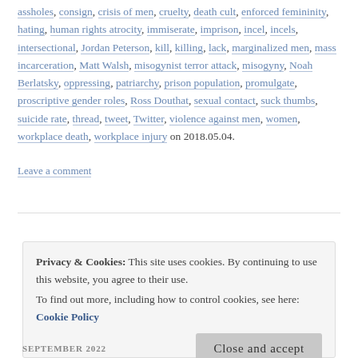assholes, consign, crisis of men, cruelty, death cult, enforced, femininity, hating, human rights atrocity, immiserate, imprison, incel, incels, intersectional, Jordan Peterson, kill, killing, lack, marginalized men, mass incarceration, Matt Walsh, misogynist terror attack, misogyny, Noah Berlatsky, oppressing, patriarchy, prison population, promulgate, proscriptive gender roles, Ross Douthat, sexual contact, suck thumbs, suicide rate, thread, tweet, Twitter, violence against men, women, workplace death, workplace injury on 2018.05.04.
Leave a comment
Privacy & Cookies: This site uses cookies. By continuing to use this website, you agree to their use. To find out more, including how to control cookies, see here: Cookie Policy
Close and accept
SEPTEMBER 2022